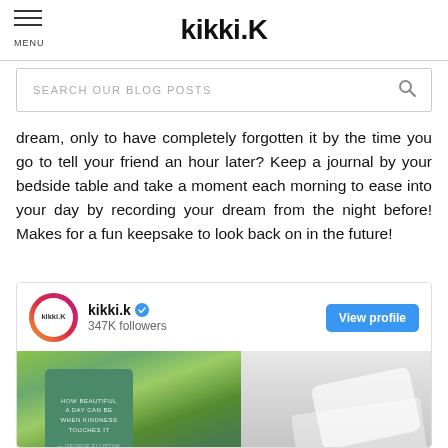kikki.K
SEARCH OUR BLOG POSTS
dream, only to have completely forgotten it by the time you go to tell your friend an hour later? Keep a journal by your bedside table and take a moment each morning to ease into your day by recording your dream from the night before! Makes for a fun keepsake to look back on in the future!
[Figure (screenshot): Instagram embed card for kikki.K with 347K followers, View profile button, and a photo showing green plants and a teal card next to what appears to be a shoe/sneaker on grey fabric]